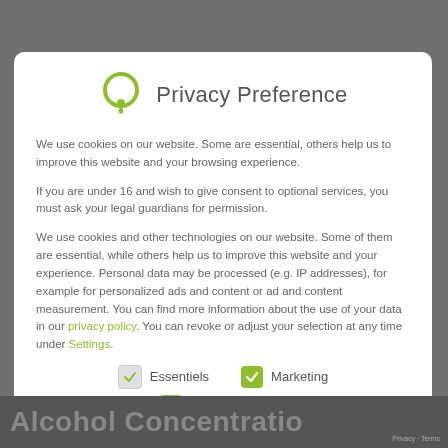Privacy Preference
We use cookies on our website. Some are essential, others help us to improve this website and your browsing experience.
If you are under 16 and wish to give consent to optional services, you must ask your legal guardians for permission.
We use cookies and other technologies on our website. Some of them are essential, while others help us to improve this website and your experience. Personal data may be processed (e.g. IP addresses), for example for personalized ads and content or ad and content measurement. You can find more information about the use of your data in our privacy policy. You can revoke or adjust your selection at any time under Settings.
Essentiels
Marketing
Médias externes
Alcohol Concentration  Privacy · Terms